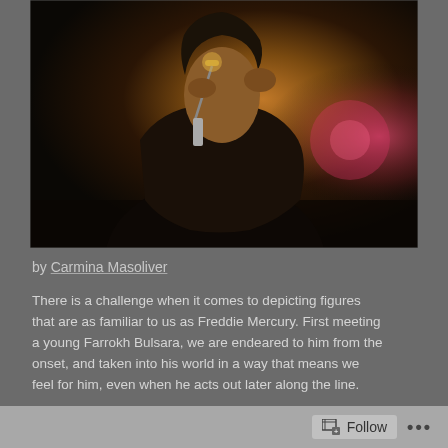[Figure (photo): A young male rock singer performing on stage, holding a microphone close to his mouth, dramatic stage lighting with warm golden and pink/red tones, dark background.]
by Carmina Masoliver
There is a challenge when it comes to depicting figures that are as familiar to us as Freddie Mercury. First meeting a young Farrokh Bulsara, we are endeared to him from the onset, and taken into his world in a way that means we feel for him, even when he acts out later along the line.
For whilst it's not necessary to suffer for great art, inevitably
Follow ...